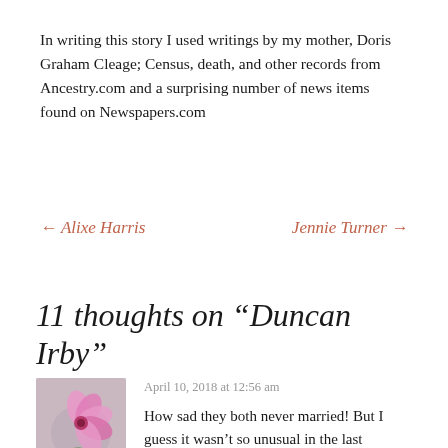In writing this story I used writings by my mother, Doris Graham Cleage; Census, death, and other records from Ancestry.com and a surprising number of news items found on Newspapers.com
← Alixe Harris
Jennie Turner →
11 thoughts on “Duncan Irby”
April 10, 2018 at 12:56 am
[Figure (photo): Photo of a pink flower]
How sad they both never married! But I guess it wasn’t so unusual in the last